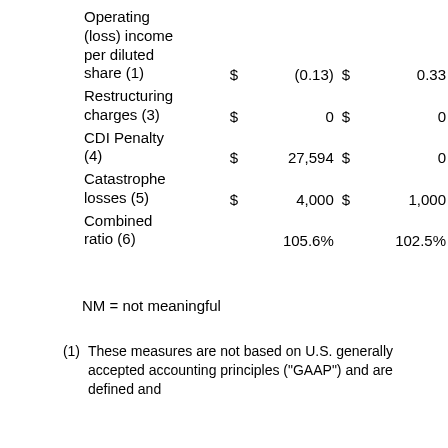|  | $ |  | $ |  |
| --- | --- | --- | --- | --- |
| Operating (loss) income per diluted share (1) | $ | (0.13) | $ | 0.33 |
| Restructuring charges (3) | $ | 0 | $ | 0 |
| CDI Penalty (4) | $ | 27,594 | $ | 0 |
| Catastrophe losses (5) | $ | 4,000 | $ | 1,000 |
| Combined ratio (6) |  | 105.6% |  | 102.5% |
NM = not meaningful
(1)   These measures are not based on U.S. generally accepted accounting principles ("GAAP") and are defined and